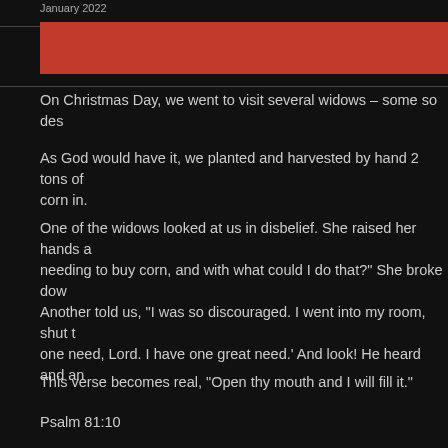January 2022
[Figure (other): Red horizontal banner bar]
On Christmas Day, we went to visit several widows – some so des
As God would have it, we planted and harvested by hand 2 tons of corn in.
One of the widows looked at us in disbelief. She raised her hands and needing to buy corn, and with what could I do that?" She broke dow
Another told us, "I was so discouraged. I went into my room, shut th one need, Lord. I have one great need.' And look! He heard and an
This verse becomes real, "Open thy mouth and I will fill it."
Psalm 81:10